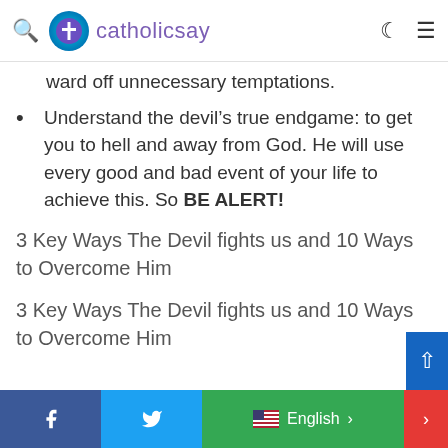catholicsay
ward off unnecessary temptations.
Understand the devil’s true endgame: to get you to hell and away from God. He will use every good and bad event of your life to achieve this. So BE ALERT!
3 Key Ways The Devil fights us and 10 Ways to Overcome Him
3 Key Ways The Devil fights us and 10 Ways to Overcome Him
English